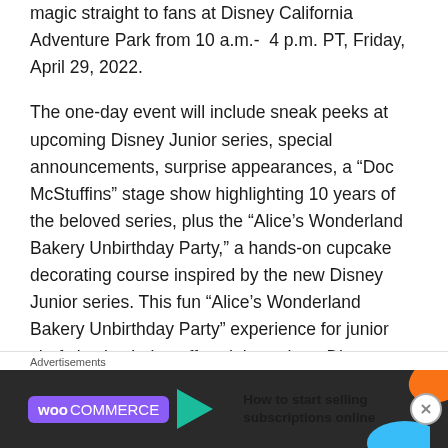magic straight to fans at Disney California Adventure Park from 10 a.m.- 4 p.m. PT, Friday, April 29, 2022.
The one-day event will include sneak peeks at upcoming Disney Junior series, special announcements, surprise appearances, a “Doc McStuffins” stage show highlighting 10 years of the beloved series, plus the “Alice’s Wonderland Bakery Unbirthday Party,” a hands-on cupcake decorating course inspired by the new Disney Junior series. This fun “Alice’s Wonderland Bakery Unbirthday Party” experience for junior chefs is also being offered throughout Disney California Adventure Food & Wine Festival
[Figure (other): WooCommerce advertisement banner: dark background with WooCommerce logo (purple badge), green arrow, and text 'How to start selling subscriptions online' with orange and blue decorative shapes]